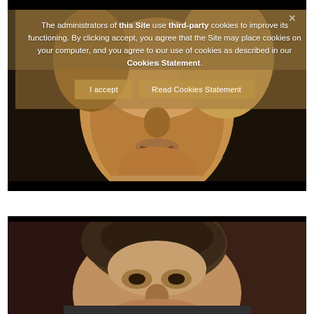[Figure (screenshot): Video thumbnail showing a close-up of a person's face (young man), dark/muted colors, appears to be from a courtroom or interview video. A semi-transparent cookie consent overlay covers the top portion.]
The administrators of this Site use third-party cookies to improve its functioning. By clicking accept, you agree that the Site may place cookies on your computer, and you agree to our use of cookies as described in our Cookies Statement.
[Figure (screenshot): Second video thumbnail showing a close-up of a young man's face with curly/wavy hair, appears to be from a courtroom or interview video, dark background.]